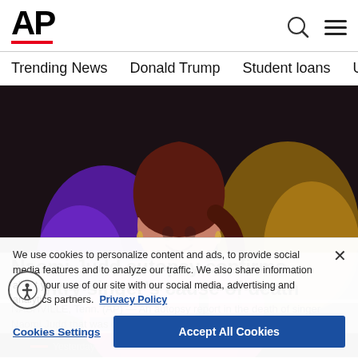AP
Trending News | Donald Trump | Student loans | U.S. Open Tenn
[Figure (photo): A woman in a bright pink/magenta outfit singing into a microphone, smiling upward, on a dark stage with purple and gold bokeh lighting in the background. This appears to be Naomi Judd performing on stage.]
Naomi Judd autopsy confirms country singer's cause of death
NASHVILLE, Tenn. (AP) — An autopsy report in the death of singer Naomi Judd that was obtained Friday by The ...
AP  Yesterday
We use cookies to personalize content and ads, to provide social media features and to analyze our traffic. We also share information about your use of our site with our social media, advertising and analytics partners.  Privacy Policy
Cookies Settings | Accept All Cookies